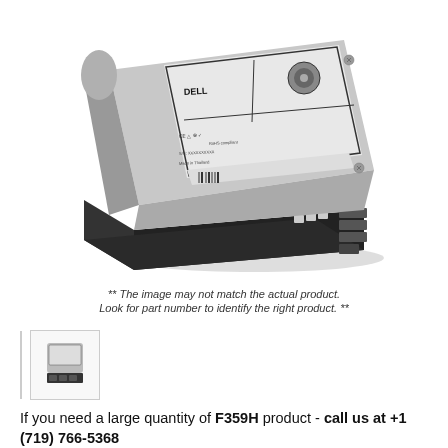[Figure (photo): A Dell hard disk drive mounted in a black server tray/caddy, photographed at an angle showing the label on top with Dell branding and regulatory symbols]
** The image may not match the actual product. Look for part number to identify the right product. **
[Figure (photo): Small thumbnail image of the same hard drive product]
If you need a large quantity of F359H product - call us at +1 (719) 766-5368